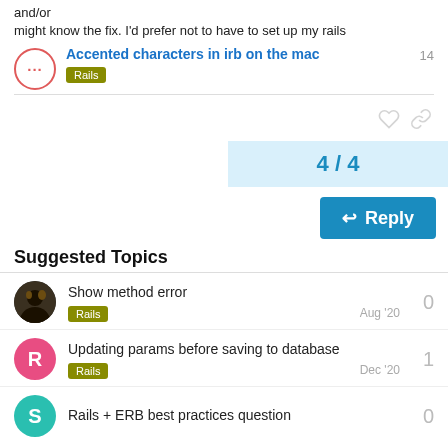and/or
might know the fix. I'd prefer not to have to set up my rails
Accented characters in irb on the mac
Rails
4 / 4
Reply
Suggested Topics
Show method error
Rails
0
Aug '20
Updating params before saving to database
Rails
1
Dec '20
Rails + ERB best practices question
0